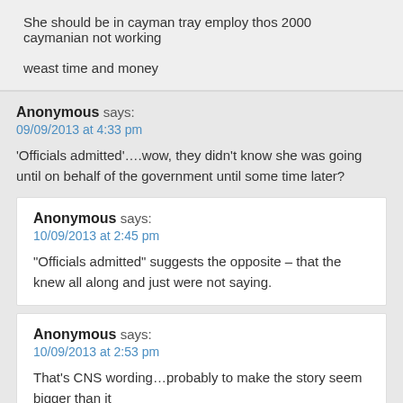She should be in cayman tray employ thos 2000 caymanian not working

weast time and money
Anonymous says:
09/09/2013 at 4:33 pm
'Officials admitted'….wow, they didn't know she was going until on behalf of the government until some time later?
Anonymous says:
10/09/2013 at 2:45 pm
"Officials admitted" suggests the opposite – that the knew all along and just were not saying.
Anonymous says:
10/09/2013 at 2:53 pm
That's CNS wording…probably to make the story seem bigger than it